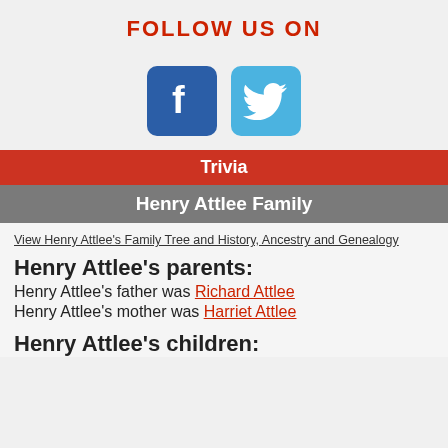FOLLOW US ON
[Figure (logo): Facebook and Twitter social media icons]
Trivia
Henry Attlee Family
View Henry Attlee's Family Tree and History, Ancestry and Genealogy
Henry Attlee's parents:
Henry Attlee's father was Richard Attlee
Henry Attlee's mother was Harriet Attlee
Henry Attlee's children: